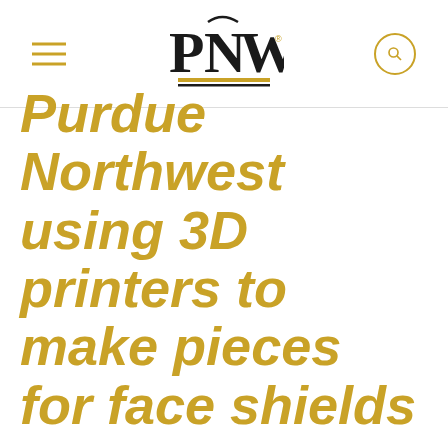PNW
Purdue Northwest using 3D printers to make pieces for face shields